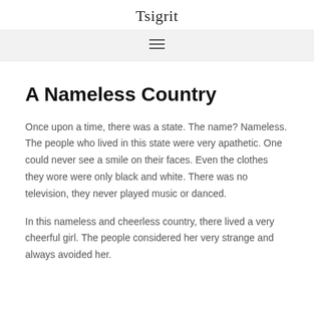Tsigrit
A Nameless Country
Once upon a time, there was a state. The name? Nameless. The people who lived in this state were very apathetic. One could never see a smile on their faces. Even the clothes they wore were only black and white. There was no television, they never played music or danced.
In this nameless and cheerless country, there lived a very cheerful girl. The people considered her very strange and always avoided her.